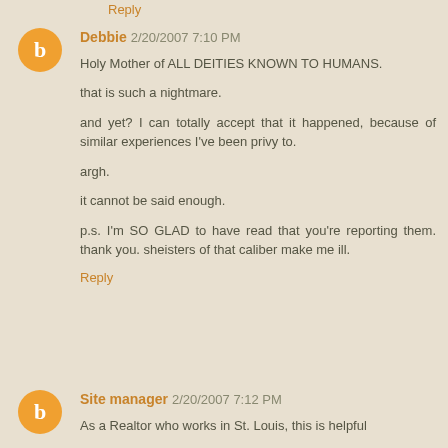Reply
Debbie 2/20/2007 7:10 PM
Holy Mother of ALL DEITIES KNOWN TO HUMANS.

that is such a nightmare.

and yet? I can totally accept that it happened, because of similar experiences I've been privy to.

argh.

it cannot be said enough.

p.s. I'm SO GLAD to have read that you're reporting them. thank you. sheisters of that caliber make me ill.
Reply
Site manager 2/20/2007 7:12 PM
As a Realtor who works in St. Louis, this is helpful